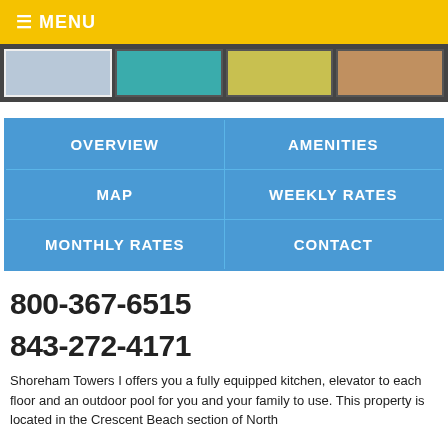☰ MENU
[Figure (photo): Strip of four thumbnail photos of property rooms/facilities]
| OVERVIEW | AMENITIES |
| MAP | WEEKLY RATES |
| MONTHLY RATES | CONTACT |
800-367-6515
843-272-4171
Shoreham Towers I offers you a fully equipped kitchen, elevator to each floor and an outdoor pool for you and your family to use. This property is located in the Crescent Beach section of North